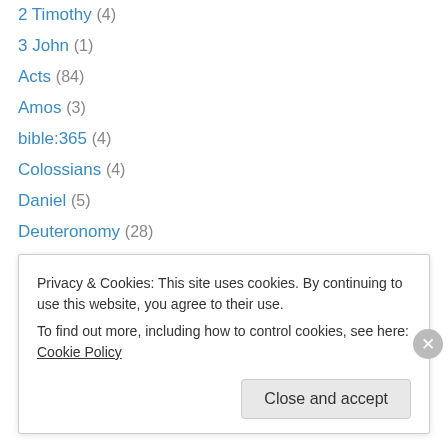2 Timothy (4)
3 John (1)
Acts (84)
Amos (3)
bible:365 (4)
Colossians (4)
Daniel (5)
Deuteronomy (28)
Ecclesiastes (4)
Ephesians (5)
Esther (3)
Exodus (32)
Ezekiel (42)
Privacy & Cookies: This site uses cookies. By continuing to use this website, you agree to their use. To find out more, including how to control cookies, see here: Cookie Policy
Close and accept